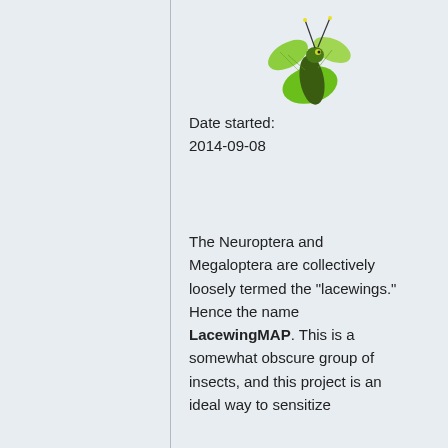[Figure (photo): Close-up photo of a lacewing insect on a green leaf, partially cropped at top of page]
Date started: 2014-09-08
The Neuroptera and Megaloptera are collectively loosely termed the "lacewings." Hence the name LacewingMAP. This is a somewhat obscure group of insects, and this project is an ideal way to sensitize